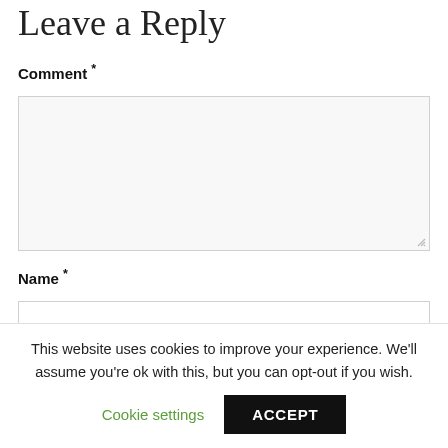Leave a Reply
Comment *
[Figure (other): Comment text area input box, empty, with resize handle]
Name *
[Figure (other): Name text input box, empty]
Email *
This website uses cookies to improve your experience. We'll assume you're ok with this, but you can opt-out if you wish.
Cookie settings
ACCEPT